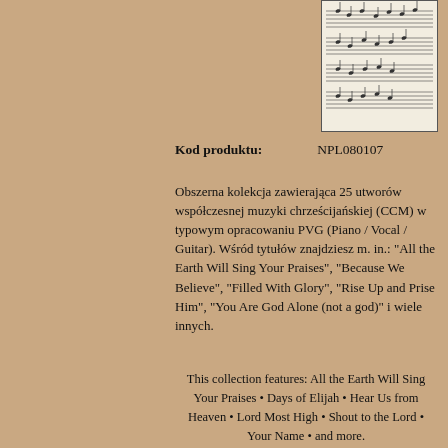[Figure (photo): Sheet music / musical score thumbnail image]
Kod produktu:    NPL080107
Obszerna kolekcja zawierająca 25 utworów współczesnej muzyki chrześcijańskiej (CCM) w typowym opracowaniu PVG (Piano / Vocal / Guitar). Wśród tytułów znajdziesz m. in.: "All the Earth Will Sing Your Praises", "Because We Believe", "Filled With Glory", "Rise Up and Prise Him", "You Are God Alone (not a god)" i wiele innych.
This collection features: All the Earth Will Sing Your Praises • Days of Elijah • Hear Us from Heaven • Lord Most High • Shout to the Lord • Your Name • and more.
Lista utworów:
All The Earth Will Sing Your Praises (Paul Baloche)
Ancient Of Days (Gary Sadler, Jamie Harvill)